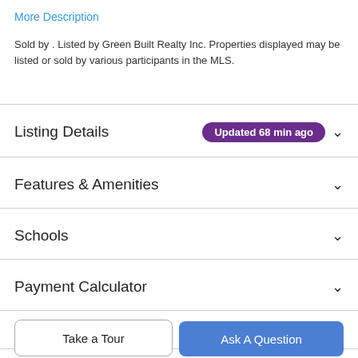More Description
Sold by . Listed by Green Built Realty Inc. Properties displayed may be listed or sold by various participants in the MLS.
Listing Details  Updated 68 min ago
Features & Amenities
Schools
Payment Calculator
Contact Agent
Take a Tour
Ask A Question